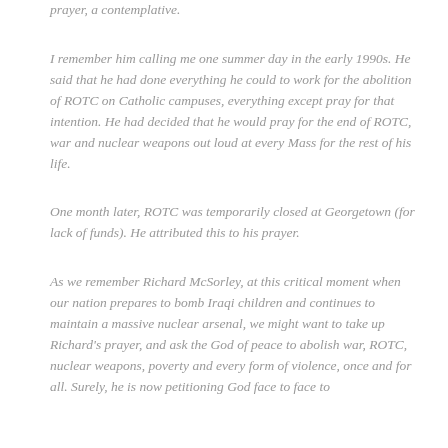prayer, a contemplative.
I remember him calling me one summer day in the early 1990s. He said that he had done everything he could to work for the abolition of ROTC on Catholic campuses, everything except pray for that intention. He had decided that he would pray for the end of ROTC, war and nuclear weapons out loud at every Mass for the rest of his life.
One month later, ROTC was temporarily closed at Georgetown (for lack of funds). He attributed this to his prayer.
As we remember Richard McSorley, at this critical moment when our nation prepares to bomb Iraqi children and continues to maintain a massive nuclear arsenal, we might want to take up Richard's prayer, and ask the God of peace to abolish war, ROTC, nuclear weapons, poverty and every form of violence, once and for all. Surely, he is now petitioning God face to face to